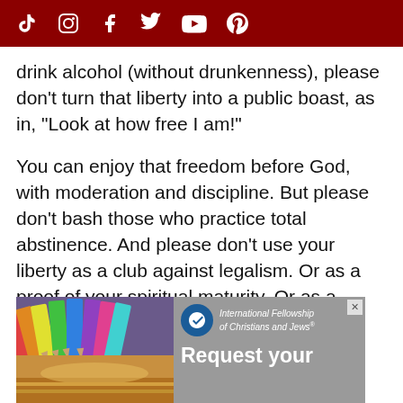Social media icons: TikTok, Instagram, Facebook, Twitter, YouTube, Pinterest
drink alcohol (without drunkenness), please don't turn that liberty into a public boast, as in, "Look at how free I am!"
You can enjoy that freedom before God, with moderation and discipline. But please don't bash those who practice total abstinence. And please don't use your liberty as a club against legalism. Or as a proof of your spiritual maturity. Or as a demonstration of the gospel of grace.
[Figure (infographic): Advertisement banner for International Fellowship of Christians and Jews with colored pencils image and sunset photo on left, logo and 'Request your' text on right]